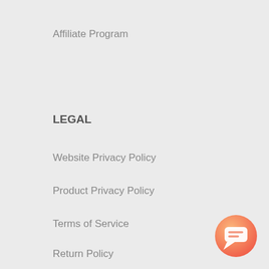Affiliate Program
LEGAL
Website Privacy Policy
Product Privacy Policy
Terms of Service
Return Policy
Warranty
[Figure (illustration): Orange gradient circular chat button with white chat bubble icon, positioned at bottom right corner]